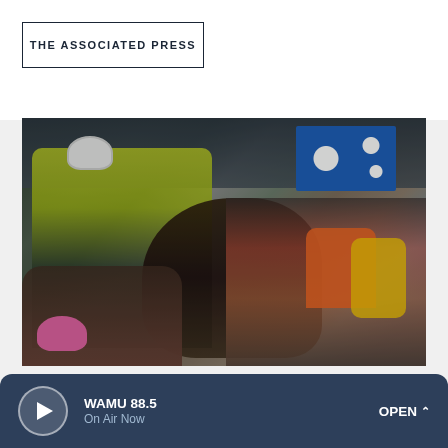[Figure (logo): THE ASSOCIATED PRESS logo in a rectangular border, black text on white background]
[Figure (photo): Mounted police officer in yellow high-visibility jacket on a dark horse moves through a crowd of protesters. Riot police in helmets visible in background. A blue Eureka flag visible in upper right. Protesters in winter clothing including orange and yellow jackets. Scene appears to be from the Ottawa Freedom Convoy protest dispersal, February 2022.]
WAMU 88.5
On Air Now
OPEN